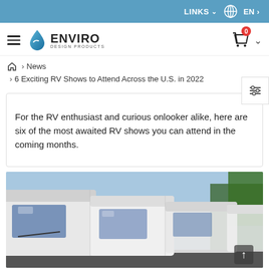LINKS   EN
[Figure (logo): Enviro Design Products logo with water droplet icon]
Breadcrumb navigation: Home > News > 6 Exciting RV Shows to Attend Across the U.S. in 2022
For the RV enthusiast and curious onlooker alike, here are six of the most awaited RV shows you can attend in the coming months.
[Figure (photo): A row of white RVs/motorhomes parked side by side under a blue sky with trees in the background]